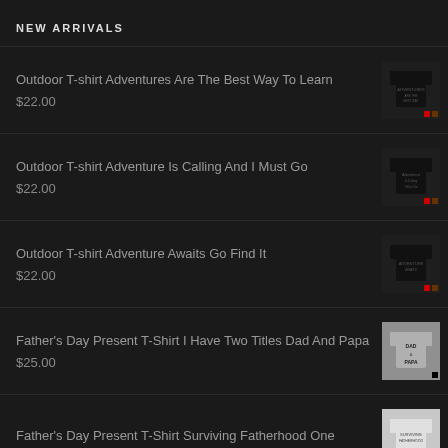NEW ARRIVALS
Outdoor T-shirt Adventures Are The Best Way To Learn
$22.00
Outdoor T-shirt Adventure Is Calling And I Must Go
$22.00
Outdoor T-shirt Adventure Awaits Go Find It
$22.00
Father's Day Present T-Shirt I Have Two Titles Dad And Papa
$25.00
Father's Day Present T-Shirt Surviving Fatherhood One